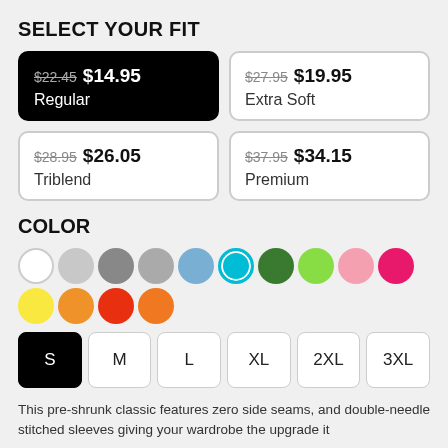SELECT YOUR FIT
$22.45 $14.95 Regular (selected)
$27.95 $19.95 Extra Soft
$28.95 $26.05 Triblend
$37.95 $34.15 Premium
COLOR
[Figure (infographic): Color swatches: white, light gray, dark gray, medium gray, light blue, cyan (selected), dark green, lime green, light pink, hot pink, yellow, orange, red-orange, orange]
[Figure (infographic): Size buttons: S (selected), M, L, XL, 2XL, 3XL]
This pre-shrunk classic features zero side seams, and double-needle stitched sleeves giving your wardrobe the upgrade it